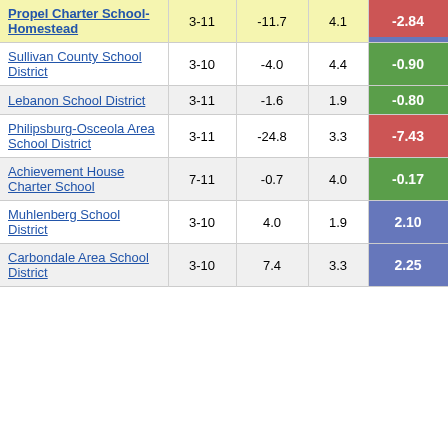| School/District | Grades | Col3 | Col4 | Score |
| --- | --- | --- | --- | --- |
| Propel Charter School-Homestead | 3-11 | -11.7 | 4.1 | -2.84 |
| Sullivan County School District | 3-10 | -4.0 | 4.4 | -0.90 |
| Lebanon School District | 3-11 | -1.6 | 1.9 | -0.80 |
| Philipsburg-Osceola Area School District | 3-11 | -24.8 | 3.3 | -7.43 |
| Achievement House Charter School | 7-11 | -0.7 | 4.0 | -0.17 |
| Muhlenberg School District | 3-10 | 4.0 | 1.9 | 2.10 |
| Carbondale Area School District | 3-10 | 7.4 | 3.3 | 2.25 |